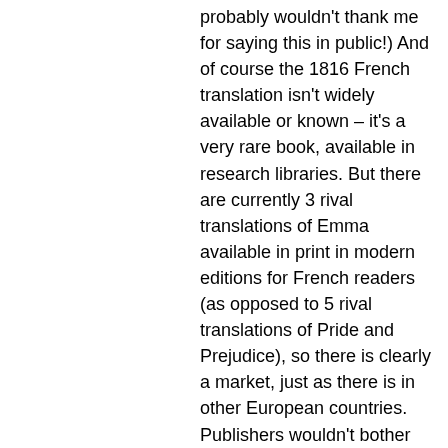probably wouldn't thank me for saying this in public!) And of course the 1816 French translation isn't widely available or known – it's a very rare book, available in research libraries. But there are currently 3 rival translations of Emma available in print in modern editions for French readers (as opposed to 5 rival translations of Pride and Prejudice), so there is clearly a market, just as there is in other European countries. Publishers wouldn't bother printing them, and paying new translators to translate them, if there wasn't. And one only has to look at new Austen societies in the Netherlands, Italy and other countries – or indeed read our guest book at Chawton House Library, or the guest book in the Jane Austen House Museum – to see that Austen has many foreign admirers. You might find Valerie Cossy's article on why Austen can never be a 'classique' in